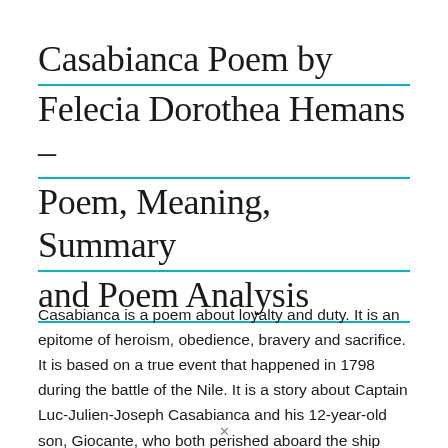Casabianca Poem by Felecia Dorothea Hemans – Poem, Meaning, Summary and Poem Analysis
Casabianca is a poem about loyalty and duty. It is an epitome of heroism, obedience, bravery and sacrifice. It is based on a true event that happened in 1798 during the battle of the Nile. It is a story about Captain Luc-Julien-Joseph Casabianca and his 12-year-old son, Giocante, who both perished aboard the ship Orient